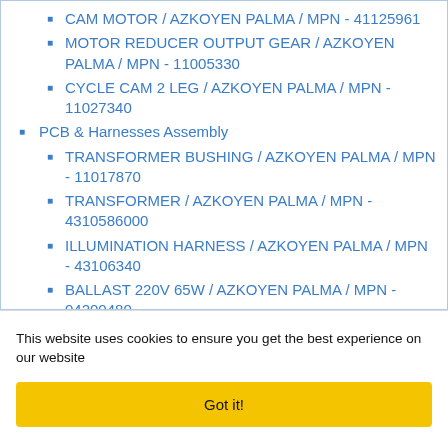CAM MOTOR / AZKOYEN PALMA / MPN - 41125961
MOTOR REDUCER OUTPUT GEAR / AZKOYEN PALMA / MPN - 11005330
CYCLE CAM 2 LEG / AZKOYEN PALMA / MPN - 11027340
PCB & Harnesses Assembly
TRANSFORMER BUSHING / AZKOYEN PALMA / MPN - 11017870
TRANSFORMER / AZKOYEN PALMA / MPN - 4310586000
ILLUMINATION HARNESS / AZKOYEN PALMA / MPN - 43106340
BALLAST 220V 65W / AZKOYEN PALMA / MPN - 04200480
FLUORESCENT TUBES CONNECTION (partially visible)
This website uses cookies to ensure you get the best experience on our website
Got it!